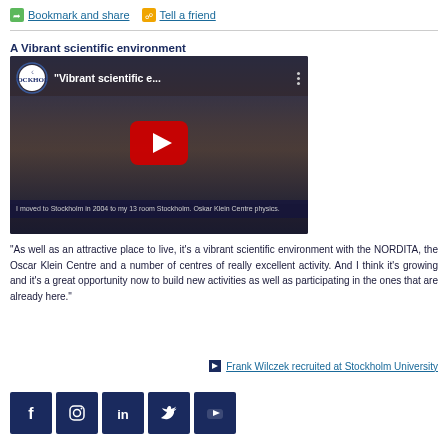Bookmark and share | Tell a friend
A Vibrant scientific environment
[Figure (screenshot): YouTube video thumbnail titled 'Vibrant scientific e...' with a red play button, Stockholm University logo, and subtitle bar at the bottom.]
"As well as an attractive place to live, it's a vibrant scientific environment with the NORDITA, the Oscar Klein Centre and a number of centres of really excellent activity. And I think it's growing and it's a great opportunity now to build new activities as well as participating in the ones that are already here."
Frank Wilczek recruited at Stockholm University
[Figure (infographic): Row of five dark blue social media icons: Facebook, Instagram, LinkedIn, Twitter, YouTube]